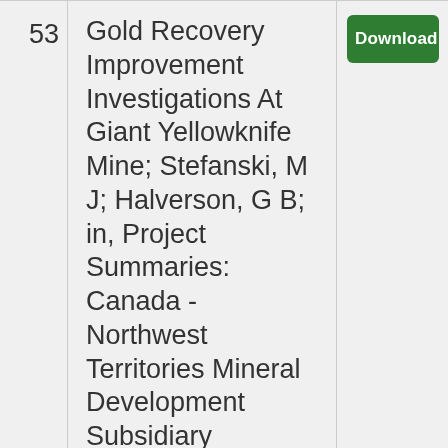| # | Title/Reference | Action |
| --- | --- | --- |
| 53 | Gold Recovery Improvement Investigations At Giant Yellowknife Mine; Stefanski, M J; Halverson, G B; in, Project Summaries: Canada - Northwest Territories Mineral Development Subsidiary Agreement, 1987 - 1991; Richardson, D G; Irving, M. Geological Survey of Canada, Open File | Download |